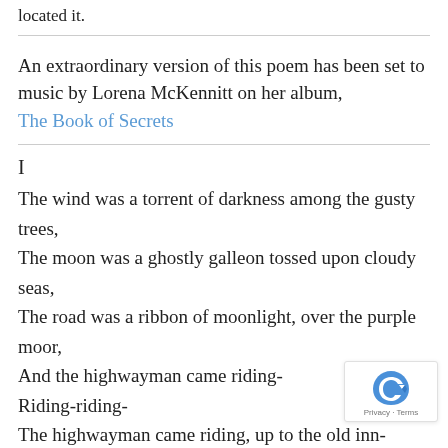located it.
An extraordinary version of this poem has been set to music by Lorena McKennitt on her album, The Book of Secrets
I
The wind was a torrent of darkness among the gusty trees,
The moon was a ghostly galleon tossed upon cloudy seas,
The road was a ribbon of moonlight, over the purple moor,
And the highwayman came riding-
Riding-riding-
The highwayman came riding, up to the old inn-